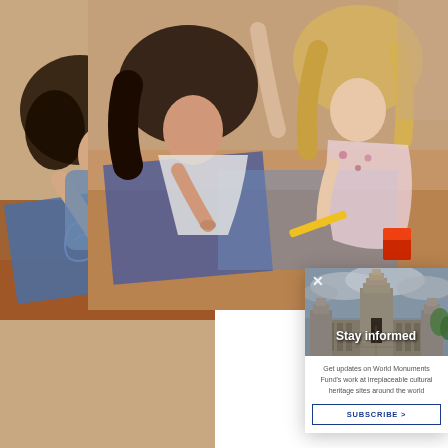[Figure (photo): Children working on craft activities at a table, viewed from above — a dark-haired girl on the left drawing on blue paper, blonde girl on the right with colorful materials]
[Figure (photo): Left-side partial photo showing child drawing on paper at a table]
[Figure (photo): Overlay popup with photo of ancient stone temple (Angkor Wat style) with dramatic cloudy sky, text 'Stay informed' overlaid in white bold]
Shukhov T
Local advocates
Shukhov Tower
part of the celeb
Activities incluc
book read, film
Get updates on World Monuments Fund's work at irreplaceable cultural heritage sites around the world
SUBSCRIBE >